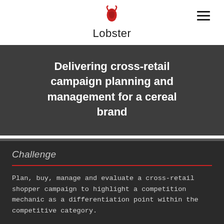Lobster
Delivering cross-retail campaign planning and management for a cereal brand
Challenge
Plan, buy, manage and evaluate a cross-retail shopper campaign to highlight a competition mechanic as a differentiation point within the competitive category.